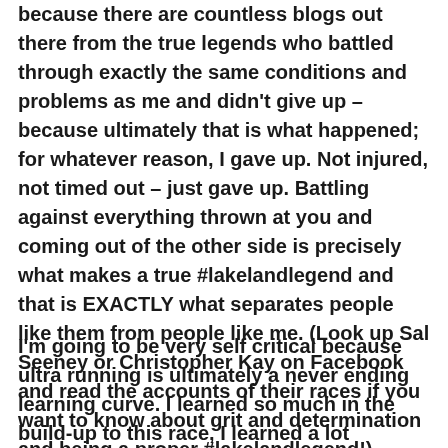because there are countless blogs out there from the true legends who battled through exactly the same conditions and problems as me and didn't give up – because ultimately that is what happened; for whatever reason, I gave up. Not injured, not timed out – just gave up. Battling against everything thrown at you and coming out of the other side is precisely what makes a true #lakelandlegend and that is EXACTLY what separates people like them from people like me. (Look up Sal Seeney or Christopher Kay on Facebook and read the accounts of their races if you want to know about grit and determination and being a proper #lakelandlegend!)
I'm going to be very self critical because ultra running is ultimately a never ending learning curve. I learned so much in the build-up to this race, I learned a lot